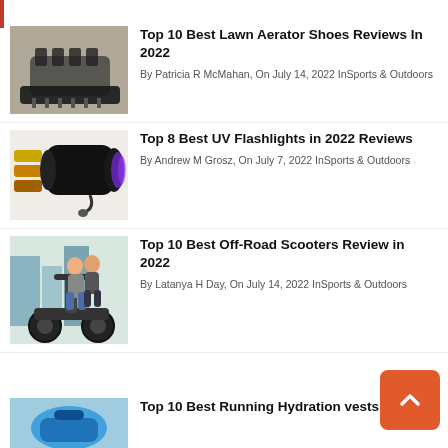Top 10 Best Lawn Aerator Shoes Reviews In 2022
By Patricia R McMahan, On July 14, 2022 InSports & Outdoors
Top 8 Best UV Flashlights in 2022 Reviews
By Andrew M Grosz, On July 7, 2022 InSports & Outdoors
Top 10 Best Off-Road Scooters Review in 2022
By Latanya H Day, On July 14, 2022 InSports & Outdoors
Top 10 Best Running Hydration vests